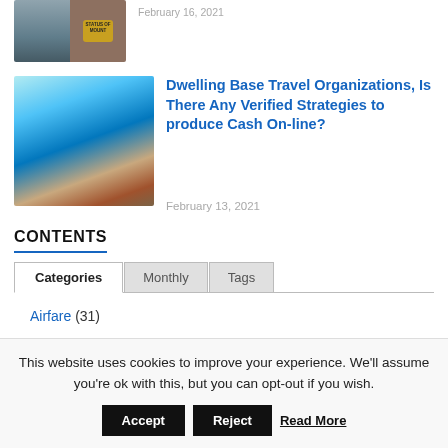[Figure (photo): Thumbnail image of a building exterior and a Mount sign on wood background]
February 16, 2021
[Figure (photo): Scenic photo of coastal cliffs, blue sea, and colorful cliffside buildings]
Dwelling Base Travel Organizations, Is There Any Verified Strategies to produce Cash On-line?
February 13, 2021
CONTENTS
Categories	Monthly	Tags
Airfare (31)
This website uses cookies to improve your experience. We'll assume you're ok with this, but you can opt-out if you wish.
Accept  Reject  Read More